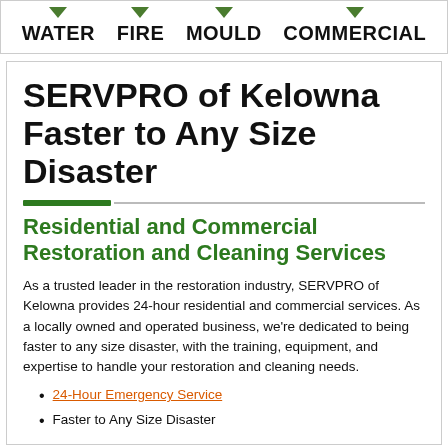WATER  FIRE  MOULD  COMMERCIAL
SERVPRO of Kelowna Faster to Any Size Disaster
Residential and Commercial Restoration and Cleaning Services
As a trusted leader in the restoration industry, SERVPRO of Kelowna provides 24-hour residential and commercial services. As a locally owned and operated business, we're dedicated to being faster to any size disaster, with the training, equipment, and expertise to handle your restoration and cleaning needs.
24-Hour Emergency Service
Faster to Any Size Disaster